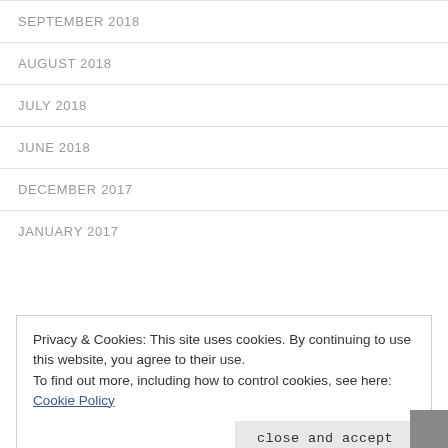SEPTEMBER 2018
AUGUST 2018
JULY 2018
JUNE 2018
DECEMBER 2017
JANUARY 2017
Privacy & Cookies: This site uses cookies. By continuing to use this website, you agree to their use.
To find out more, including how to control cookies, see here: Cookie Policy
CATEGORIES